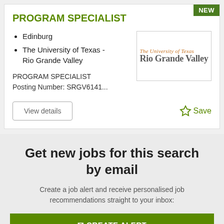PROGRAM SPECIALIST
Edinburg
The University of Texas - Rio Grande Valley
[Figure (logo): The University of Texas Rio Grande Valley logo with italic orange top text and bold grey bottom text]
PROGRAM SPECIALIST
Posting Number: SRGV6141...
View details
☆ Save
Get new jobs for this search by email
Create a job alert and receive personalised job recommendations straight to your inbox:
CREATE ALERT